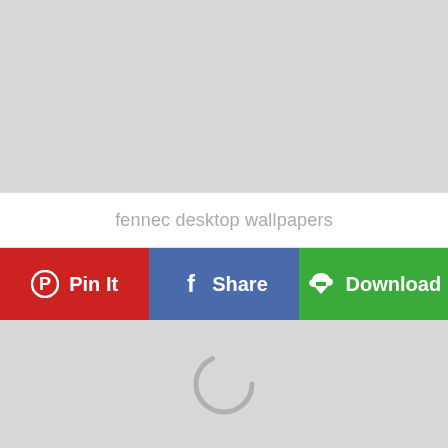[Figure (screenshot): Gray placeholder image area at the top of the page]
fennec desktop wallpapers
[Figure (screenshot): Three action buttons: Pin It (red), Share (blue), Download (green)]
[Figure (screenshot): Gray placeholder image area at the bottom with a loading spinner in the center]